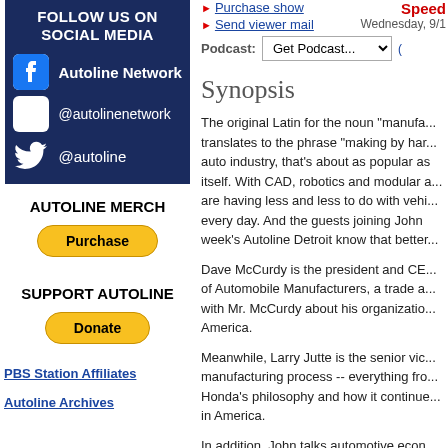[Figure (infographic): Dark blue box with FOLLOW US ON SOCIAL MEDIA header and Facebook, Instagram, Twitter social media icons with handles: Autoline Network, @autolinenetwork, @autoline]
AUTOLINE MERCH
[Figure (other): Yellow Purchase button]
SUPPORT AUTOLINE
[Figure (other): Yellow Donate button]
PBS Station Affiliates
Autoline Archives
Purchase show
Send viewer mail
Speed
Wednesday, 9/1
Podcast: Get Podcast...
Synopsis
The original Latin for the noun "manufa... translates to the phrase "making by har... auto industry, that's about as popular as itself. With CAD, robotics and modular a... are having less and less to do with vehi... every day. And the guests joining John week's Autoline Detroit know that better...
Dave McCurdy is the president and CE... of Automobile Manufacturers, a trade a... with Mr. McCurdy about his organizatio... America.
Meanwhile, Larry Jutte is the senior vic... manufacturing process -- everything fro... Honda's philosophy and how it continue... in America.
In addition, John talks automotive econ...
« Previous Show